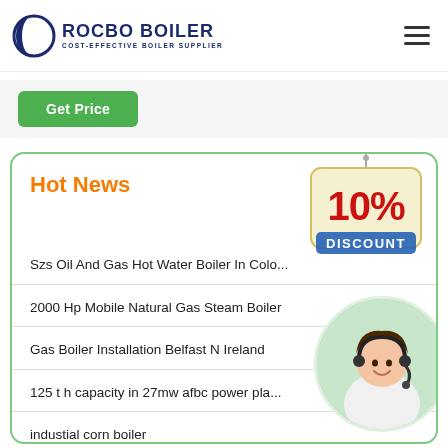ROCBO BOILER - COST-EFFECTIVE BOILER SUPPLIER
Get Price
Hot News
Szs Oil And Gas Hot Water Boiler In Colo...
2000 Hp Mobile Natural Gas Steam Boiler
Gas Boiler Installation Belfast N Ireland
125 t h capacity in 27mw afbc power pla...
industial corn boiler
[Figure (illustration): 10% DISCOUNT hanging sign badge]